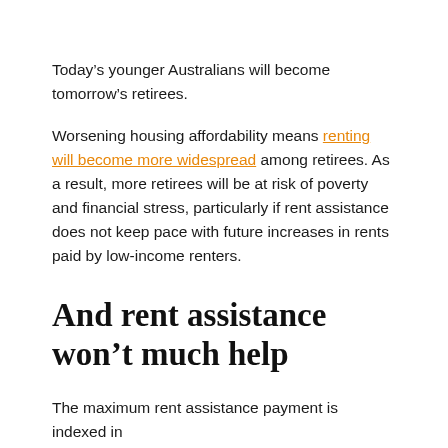Today’s younger Australians will become tomorrow’s retirees.
Worsening housing affordability means renting will become more widespread among retirees. As a result, more retirees will be at risk of poverty and financial stress, particularly if rent assistance does not keep pace with future increases in rents paid by low-income renters.
And rent assistance won’t much help
The maximum rent assistance payment is indexed in